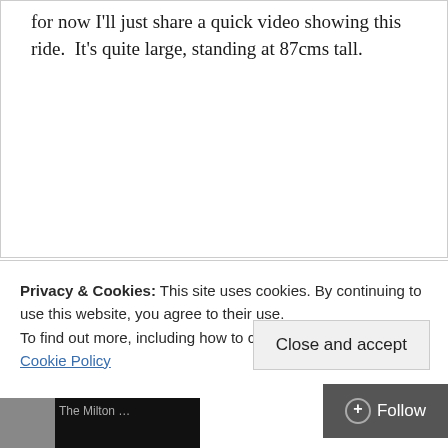for now I'll just share a quick video showing this ride.  It's quite large, standing at 87cms tall.
Privacy & Cookies: This site uses cookies. By continuing to use this website, you agree to their use.
To find out more, including how to control cookies, see here: Cookie Policy
Close and accept
+ Follow